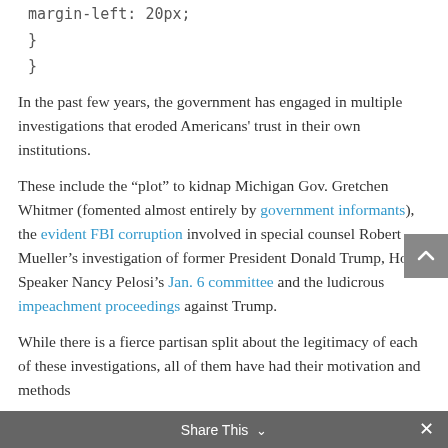margin-left: 20px;
}
}
In the past few years, the government has engaged in multiple investigations that eroded Americans' trust in their own institutions.
These include the “plot” to kidnap Michigan Gov. Gretchen Whitmer (fomented almost entirely by government informants), the evident FBI corruption involved in special counsel Robert Mueller’s investigation of former President Donald Trump, House Speaker Nancy Pelosi’s Jan. 6 committee and the ludicrous impeachment proceedings against Trump.
While there is a fierce partisan split about the legitimacy of each of these investigations, all of them have had their motivation and methods
Share This ⌄  ×